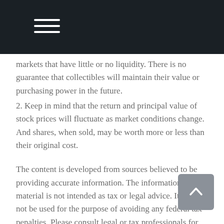markets that have little or no liquidity. There is no guarantee that collectibles will maintain their value or purchasing power in the future.
2. Keep in mind that the return and principal value of stock prices will fluctuate as market conditions change. And shares, when sold, may be worth more or less than their original cost.
The content is developed from sources believed to be providing accurate information. The information in this material is not intended as tax or legal advice. It may not be used for the purpose of avoiding any federal tax penalties. Please consult legal or tax professionals for specific information regarding your individual situation. This material was developed and produced by FMG Suite to provide information on a topic that may be of interest. FMG Suite is not affiliated with the named broker-